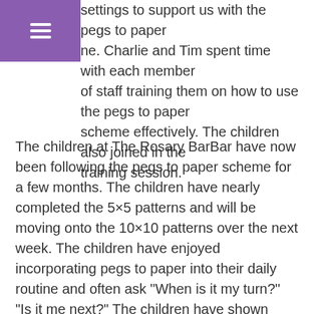menu icon (hamburger)
settings to support us with the pegs to paper. Charlie and Tim spent time with each member of staff training them on how to use the pegs to paper scheme effectively. The children also joined in the training session.
The children at The Rosary BarBar have now been following the pegs to paper scheme for a few months. The children have nearly completed the 5×5 patterns and will be moving onto the 10×10 patterns over the next week. The children have enjoyed incorporating pegs to paper into their daily routine and often ask “When is it my turn?” “Is it me next?” The children have shown such an interest and pride in their achievements. We are also thrilled with the feedback from our parents, with some parents wanting to follow the pegs to paper scheme at home.